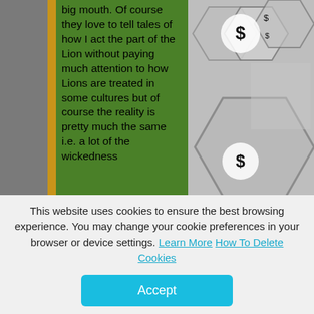[Figure (screenshot): A webpage screenshot showing a green panel with text on the left over a background image with hexagonal graphic overlays on the right.]
big mouth. Of course they love to tell tales of how I act the part of the Lion without paying much attention to how Lions are treated in some cultures but of course the reality is pretty much the same i.e. a lot of the wickedness
This website uses cookies to ensure the best browsing experience. You may change your cookie preferences in your browser or device settings. Learn More How To Delete Cookies